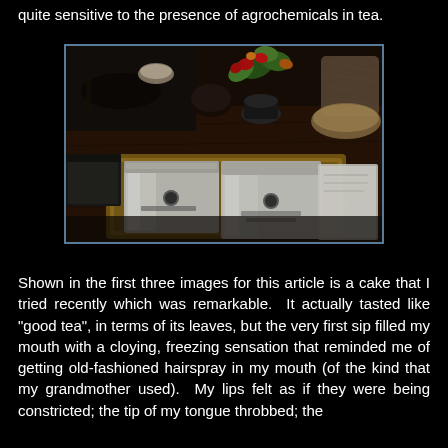quite sensitive to the presence of agrochemicals in tea.
[Figure (photo): A wooden tray holding two silver/white foil tea packages on a dark wooden table, with flowers in a vase and dried herbs in the background.]
Shown in the first three images for this article is a cake that I tried recently which was remarkable.  It actually tasted like "good tea", in terms of its leaves, but the very first sip filled my mouth with a cloying, freezing sensation that reminded me of getting old-fashioned hairspray in my mouth (of the kind that my grandmother used).  My lips felt as if they were being constricted; the tip of my tongue throbbed; the